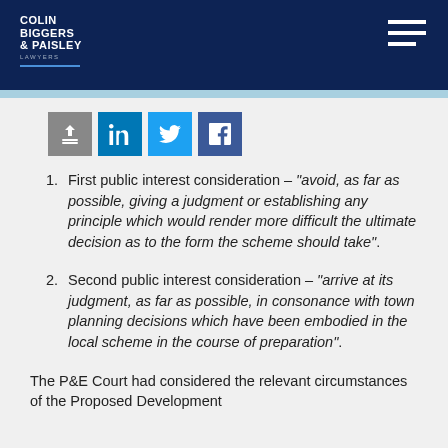COLIN BIGGERS & PAISLEY LAWYERS
[Figure (infographic): Social sharing icons: share/print, LinkedIn, Twitter, Facebook]
First public interest consideration – "avoid, as far as possible, giving a judgment or establishing any principle which would render more difficult the ultimate decision as to the form the scheme should take".
Second public interest consideration – "arrive at its judgment, as far as possible, in consonance with town planning decisions which have been embodied in the local scheme in the course of preparation".
The P&E Court had considered the relevant circumstances of the Proposed Development